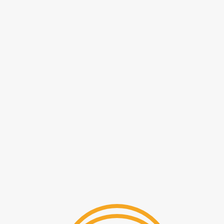[Figure (other): An orange circle outline (ring) centered slightly right and below the page center, on a light gray/white background. The circle is drawn with an orange stroke and no fill.]